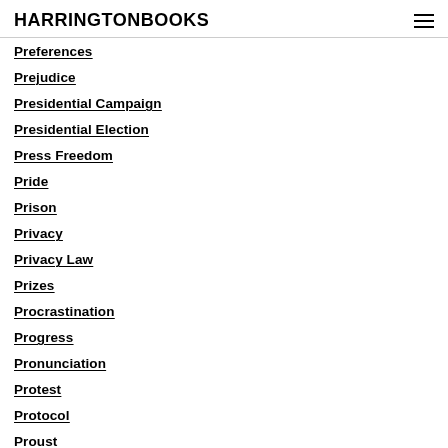HARRINGTONBOOKS
Preferences
Prejudice
Presidential Campaign
Presidential Election
Press Freedom
Pride
Prison
Privacy
Privacy Law
Prizes
Procrastination
Progress
Pronunciation
Protest
Protocol
Proust
Psychology